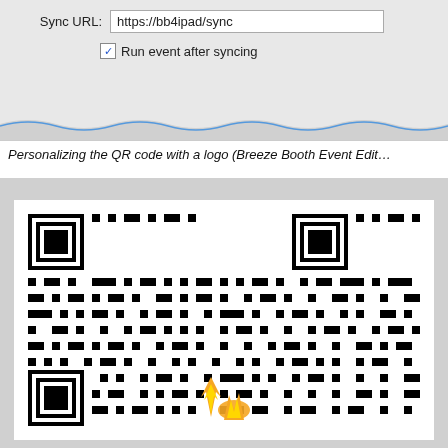[Figure (screenshot): UI showing Sync URL field with value https://bb4ipad/sync and a checked checkbox labeled Run event after syncing]
Personalizing the QR code with a logo (Breeze Booth Event Edit…
[Figure (other): QR code image with a flame/logo overlay in the center-bottom area]